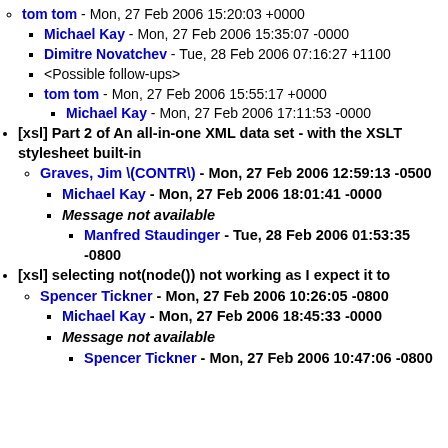tom tom - Mon, 27 Feb 2006 15:20:03 +0000
Michael Kay - Mon, 27 Feb 2006 15:35:07 -0000
Dimitre Novatchev - Tue, 28 Feb 2006 07:16:27 +1100
<Possible follow-ups>
tom tom - Mon, 27 Feb 2006 15:55:17 +0000
Michael Kay - Mon, 27 Feb 2006 17:11:53 -0000
[xsl] Part 2 of An all-in-one XML data set - with the XSLT stylesheet built-in
Graves, Jim \(CONTR\) - Mon, 27 Feb 2006 12:59:13 -0500
Michael Kay - Mon, 27 Feb 2006 18:01:41 -0000
Message not available
Manfred Staudinger - Tue, 28 Feb 2006 01:53:35 -0800
[xsl] selecting not(node()) not working as I expect it to
Spencer Tickner - Mon, 27 Feb 2006 10:26:05 -0800
Michael Kay - Mon, 27 Feb 2006 18:45:33 -0000
Message not available
Spencer Tickner - Mon, 27 Feb 2006 10:47:06 -0800